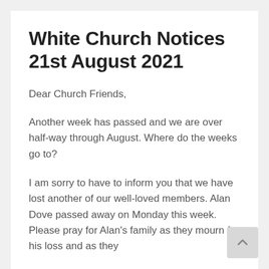White Church Notices 21st August 2021
Dear Church Friends,
Another week has passed and we are over half-way through August. Where do the weeks go to?
I am sorry to have to inform you that we have lost another of our well-loved members. Alan Dove passed away on Monday this week. Please pray for Alan's family as they mourn for his loss and as they